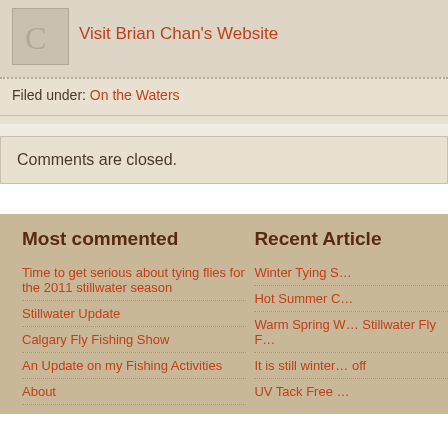Visit Brian Chan's Website
Filed under: On the Waters
Comments are closed.
Most commented
Time to get serious about tying flies for the 2011 stillwater season
Stillwater Update
Calgary Fly Fishing Show
An Update on my Fishing Activities
About
Recent Article
Winter Tying S…
Hot Summer C…
Warm Spring W… Stillwater Fly F…
It is still winter… off
UV Tack Free …